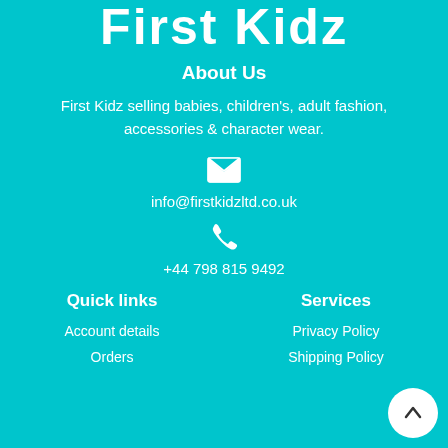First Kidz
About Us
First Kidz selling babies, children's, adult fashion, accessories & character wear.
[Figure (illustration): White envelope icon]
info@firstkidzltd.co.uk
[Figure (illustration): White phone icon]
+44 798 815 9492
Quick links
Services
Account details
Privacy Policy
Orders
Shipping Policy